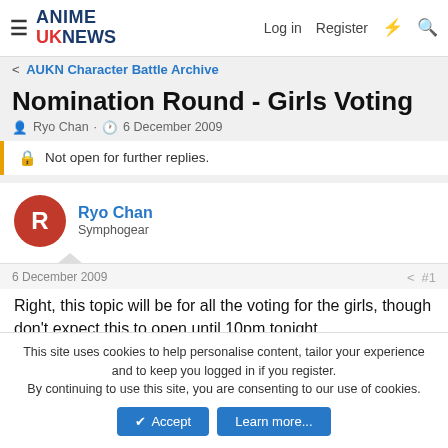ANIME UK NEWS — Log in  Register
< AUKN Character Battle Archive
Nomination Round - Girls Voting
Ryo Chan · 6 December 2009
Not open for further replies.
Ryo Chan
Symphogear
6 December 2009   #1
Right, this topic will be for all the voting for the girls, though don't expect this to open until 10pm tonight.
This site uses cookies to help personalise content, tailor your experience and to keep you logged in if you register.
By continuing to use this site, you are consenting to our use of cookies.
Accept  Learn more...